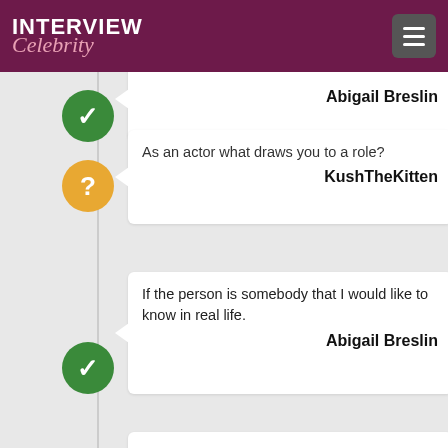INTERVIEW Celebrity
Abigail Breslin
As an actor what draws you to a role?
KushTheKitten
If the person is somebody that I would like to know in real life.
Abigail Breslin
do you ever think there's gonna be this massive nuclear holocaust, and after all the major nations